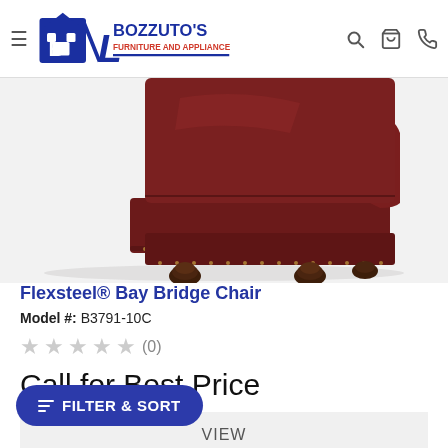Bozzuto's Furniture and Appliance
[Figure (photo): Bottom portion of a Flexsteel Bay Bridge Chair in dark burgundy/oxblood leather with nailhead trim and dark wood bun feet, photographed on white background]
Flexsteel® Bay Bridge Chair
Model #: B3791-10C
★★★★★ (0)
Call for Best Price
VIEW
COMPARE
FILTER & SORT